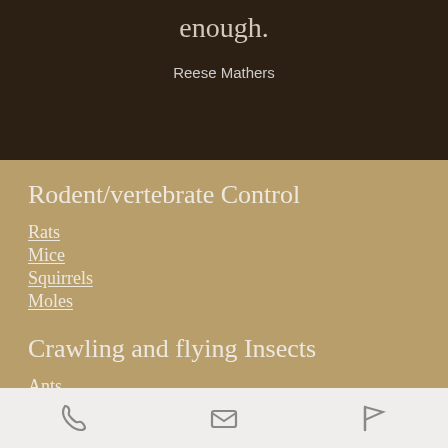enough.
Reese Mathers
Rodent/vertebrate Control
Rats
Mice
Squirrels
Moles
Crawling and flying Insects
Ants
Cockroaches
Bed bugs
Fleas
phone | email | flag icons